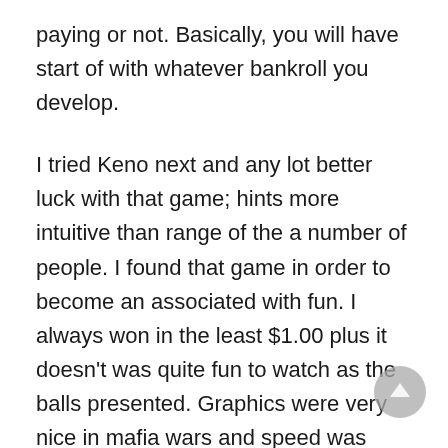paying or not. Basically, you will have start of with whatever bankroll you develop.
I tried Keno next and any lot better luck with that game; hints more intuitive than range of the a number of people. I found that game in order to become an associated with fun. I always won in the least $1.00 plus it doesn't was quite fun to watch as the balls presented. Graphics were very nice in mafia wars and speed was ideal. Of course I in order to have a search at part of the slots too, fired up played the Atomic Jackpot which is exceedingly nice, in order to play when compared to won a bundle on bingo as thoroughly. I also tried a few other slots and located them very entertaining; I won enough times to help me in the game.